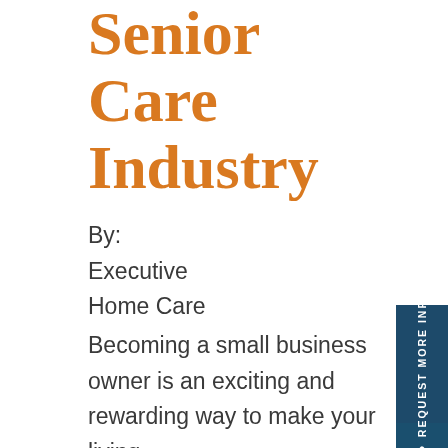Senior Care Industry
By:
Executive Home Care
Becoming a small business owner is an exciting and rewarding way to make your living,
[Figure (other): Vertical sidebar button reading REQUEST MORE INFO in white text on dark navy background, with an upward arrow button below it]